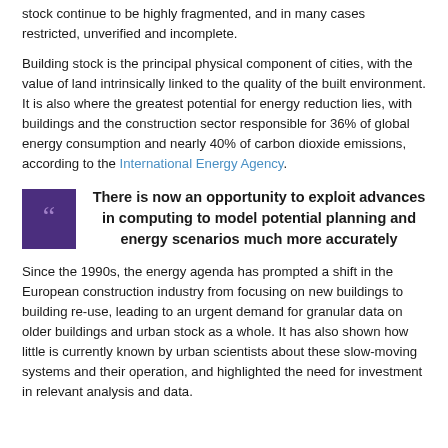stock continue to be highly fragmented, and in many cases restricted, unverified and incomplete.
Building stock is the principal physical component of cities, with the value of land intrinsically linked to the quality of the built environment. It is also where the greatest potential for energy reduction lies, with buildings and the construction sector responsible for 36% of global energy consumption and nearly 40% of carbon dioxide emissions, according to the International Energy Agency.
There is now an opportunity to exploit advances in computing to model potential planning and energy scenarios much more accurately
Since the 1990s, the energy agenda has prompted a shift in the European construction industry from focusing on new buildings to building re-use, leading to an urgent demand for granular data on older buildings and urban stock as a whole. It has also shown how little is currently known by urban scientists about these slow-moving systems and their operation, and highlighted the need for investment in relevant analysis and data.